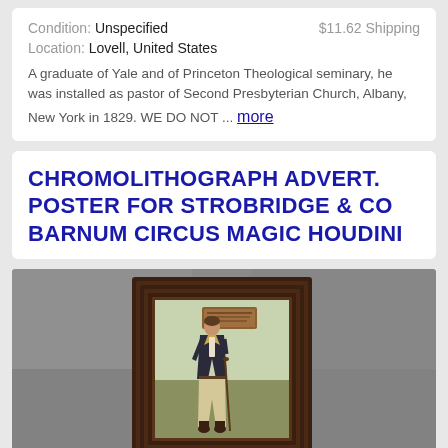Condition: Unspecified   $11.62 Shipping
Location: Lovell, United States
A graduate of Yale and of Princeton Theological seminary, he was installed as pastor of Second Presbyterian Church, Albany, New York in 1829. WE DO NOT ... more
CHROMOLITHOGRAPH ADVERT. POSTER FOR STROBRIDGE & CO BARNUM CIRCUS MAGIC HOUDINI
[Figure (photo): A framed chromolithograph poster showing a standing figure in period clothing (dark jacket, light trousers, boots), holding a cane, with a banner/sign visible in the background. The frame is dark wood with multiple ridged borders. The photo is taken against a gray background.]